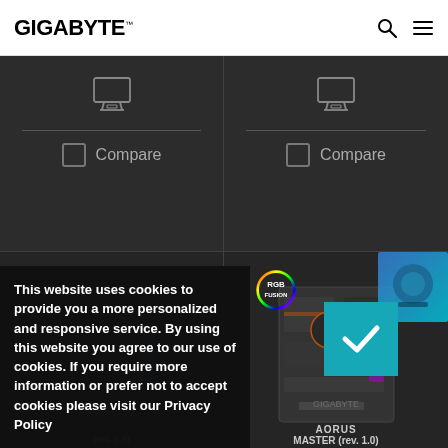GIGABYTE
[Figure (screenshot): Two product grid cells showing monitor/cart icons with Compare checkboxes on dark background]
[Figure (screenshot): Two product grid cells showing motherboard product images on dark background, with RGB badge on right cell]
This website uses cookies to provide you a more personalized and responsive service. By using this website you agree to our use of cookies. If you require more information or prefer not to accept cookies please visit our Privacy Policy
[Figure (screenshot): Teal accept/confirm button with checkmark]
AORUS MASTER (rev. 1.0)